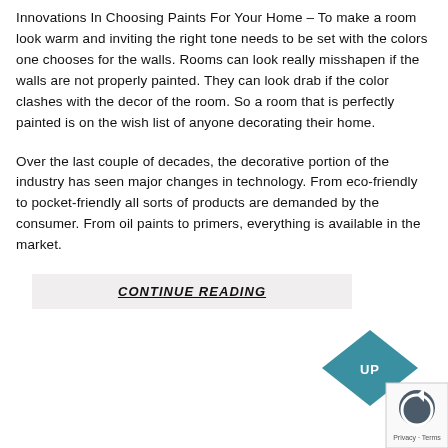Innovations In Choosing Paints For Your Home – To make a room look warm and inviting the right tone needs to be set with the colors one chooses for the walls. Rooms can look really misshapen if the walls are not properly painted. They can look drab if the color clashes with the decor of the room. So a room that is perfectly painted is on the wish list of anyone decorating their home.
Over the last couple of decades, the decorative portion of the industry has seen major changes in technology. From eco-friendly to pocket-friendly all sorts of products are demanded by the consumer. From oil paints to primers, everything is available in the market.
CONTINUE READING
[Figure (other): Teal/blue diamond-shaped 'UP' button in the bottom right corner, with a reCAPTCHA logo and Privacy/Terms links below it.]